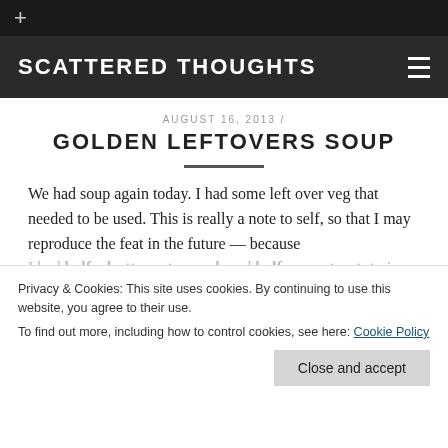+
SCATTERED THOUGHTS
AUGUST 16, 2013 /
GOLDEN LEFTOVERS SOUP
We had soup again today. I had some left over veg that needed to be used. This is really a note to self, so that I may reproduce the feat in the future — because
Privacy & Cookies: This site uses cookies. By continuing to use this website, you agree to their use.
To find out more, including how to control cookies, see here: Cookie Policy
Close and accept
half a butternut squash and half a sweet potato in the salad drawer, along with an about-to-wrinkle yellow bell pepper. I roasted the Monday with a couple of onions (peeled and chunked) and a